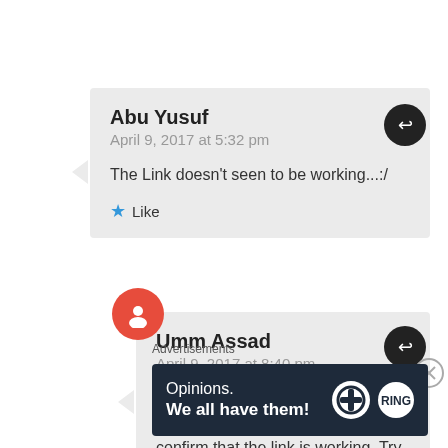Abu Yusuf
April 9, 2017 at 5:32 pm
The Link doesn't seen to be working...:/
Like
Umm Assad
April 9, 2017 at 8:40 pm
Have you tried refreshing your page or clearing 'cookies'? I can confirm that the link is working. Try this direct link please
Advertisements
[Figure (infographic): Dark navy advertisement banner with text 'Opinions. We all have them!' alongside WordPress and another circular logo on the right.]